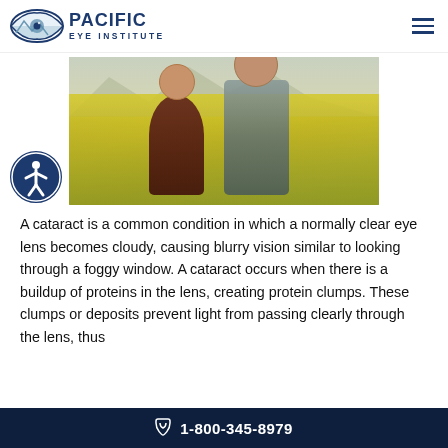PACIFIC EYE INSTITUTE
[Figure (photo): Two smiling older adults, a woman and a man, standing in a bright yellow flowering field (canola flowers) with mountains in the background. The woman leans toward the man and both are laughing.]
A cataract is a common condition in which a normally clear eye lens becomes cloudy, causing blurry vision similar to looking through a foggy window. A cataract occurs when there is a buildup of proteins in the lens, creating protein clumps. These clumps or deposits prevent light from passing clearly through the lens, thus
1-800-345-8979